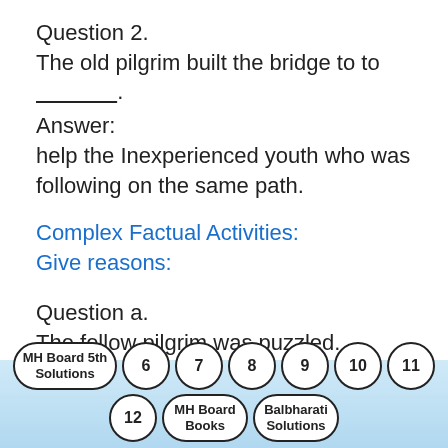Question 2.
The old pilgrim built the bridge to to _________.
Answer:
help the Inexperienced youth who was following on the same path.
Complex Factual Activities:
Give reasons:
Question a.
The fellow pilgrim was puzzled.
Answer:
The old pilgrim had already crossed the
MH Board 5th Solutions  6  7  8  9  10  11  12  MH Board Books  Balbharati Solutions